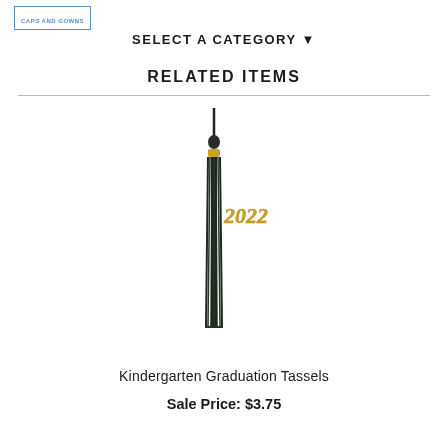CAPS AND GOWNS
SELECT A CATEGORY ▾
RELATED ITEMS
[Figure (photo): A dark navy/black graduation tassel with a gold cap band and a gold '2022' year charm attached to the side.]
Kindergarten Graduation Tassels
Sale Price: $3.75